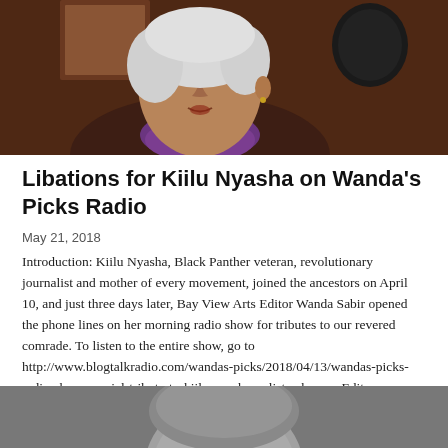[Figure (photo): Photo of an elderly Black woman with white hair, speaking into a microphone, wearing a purple collar, photographed from the side/front in a radio studio setting.]
Libations for Kiilu Nyasha on Wanda's Picks Radio
May 21, 2018
Introduction: Kiilu Nyasha, Black Panther veteran, revolutionary journalist and mother of every movement, joined the ancestors on April 10, and just three days later, Bay View Arts Editor Wanda Sabir opened the phone lines on her morning radio show for tributes to our revered comrade. To listen to the entire show, go to http://www.blogtalkradio.com/wandas-picks/2018/04/13/wandas-picks-radio-show-special-tribute-to-kiilu-nyasha or listen here. – Editor
[Figure (photo): Partial photo at bottom of page showing the top of a person's head, partially visible, in grayscale/dark tones.]